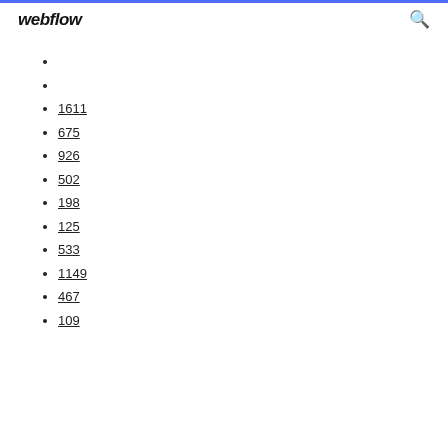webflow
1611
675
926
502
198
125
533
1149
467
109